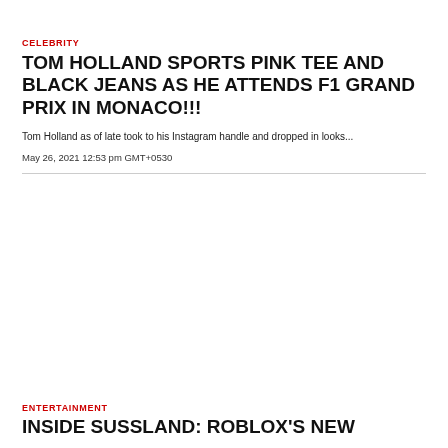CELEBRITY
TOM HOLLAND SPORTS PINK TEE AND BLACK JEANS AS HE ATTENDS F1 GRAND PRIX IN MONACO!!!
Tom Holland as of late took to his Instagram handle and dropped in looks...
May 26, 2021 12:53 pm GMT+0530
ENTERTAINMENT
INSIDE SUSSLAND: ROBLOX'S NEW